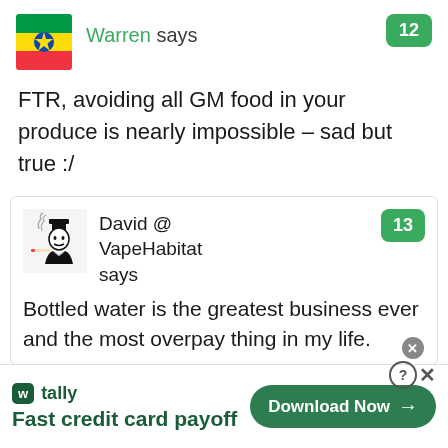[Figure (illustration): Ethiopian flag icon (green, yellow, red horizontal stripes with star emblem)]
Warren says
12
FTR, avoiding all GM food in your produce is nearly impossible – sad but true :/
[Figure (illustration): Black and white cartoon avatar of a man in a top hat smoking]
David @ VapeHabitat says
13
Bottled water is the greatest business ever and the most overpay thing in my life.
[Figure (logo): Tally app logo and advertisement: Fast credit card payoff, Download Now button]